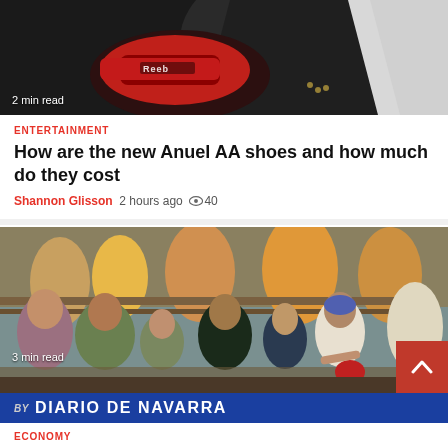[Figure (photo): Person holding red and black Reebok shoes, wearing black and white jacket with chain necklace]
2 min read
ENTERTAINMENT
How are the new Anuel AA shoes and how much do they cost
Shannon Glisson  2 hours ago  40
[Figure (photo): Group of people including men and children sitting together, appearing to be in a crowded outdoor setting]
3 min read
BY  DIARIO DE NAVARRA
ECONOMY